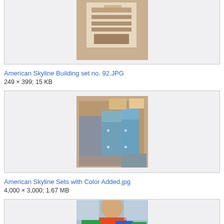[Figure (photo): Partially visible image of what appears to be a building set box, cropped at top]
American Skyline Building set no. 92.JPG
249 × 399; 15 KB
[Figure (photo): Photo of American Skyline sets with color added, showing multiple colorful game/toy boxes stacked in a store]
American Skyline Sets with Color Added.jpg
4,000 × 3,000; 1.67 MB
[Figure (photo): Partially visible photo of a child playing with colorful block toys, cropped at bottom]